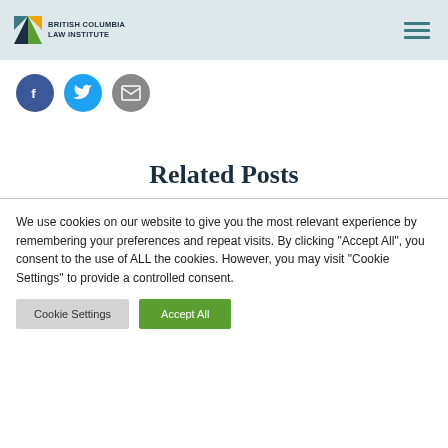British Columbia Law Institute
[Figure (infographic): Social sharing buttons: Facebook (dark blue circle with f icon), Twitter (light blue circle with bird icon), Email (gray circle with envelope icon)]
Related Posts
We use cookies on our website to give you the most relevant experience by remembering your preferences and repeat visits. By clicking "Accept All", you consent to the use of ALL the cookies. However, you may visit "Cookie Settings" to provide a controlled consent.
Cookie Settings | Accept All